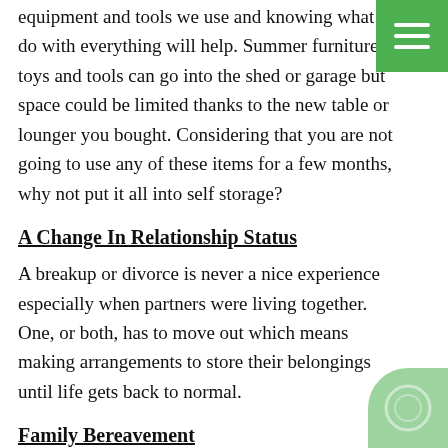equipment and tools we use and knowing what to do with everything will help. Summer furniture, toys and tools can go into the shed or garage but space could be limited thanks to the new table or lounger you bought. Considering that you are not going to use any of these items for a few months, why not put it all into self storage?
A Change In Relationship Status
A breakup or divorce is never a nice experience especially when partners were living together. One, or both, has to move out which means making arrangements to store their belongings until life gets back to normal.
Family Bereavement
Nobody likes talking about it but the sad fact is that many people will inherit a home with all its contents following a family bereavement. While some may